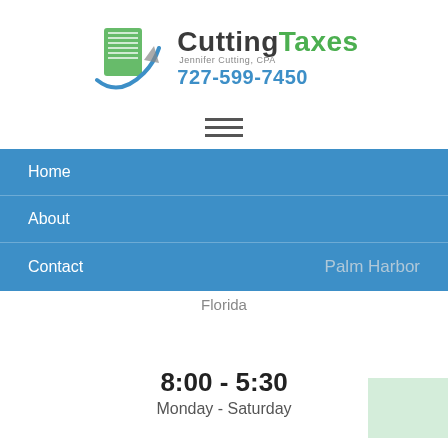[Figure (logo): CuttingTaxes logo with stylized paper/arrow graphic, company name 'CuttingTaxes', subtitle 'Jennifer Cutting, CPA', and phone number 727-599-7450]
[Figure (other): Hamburger menu icon (three horizontal lines)]
Home
About
Contact
Palm Harbor
Florida
8:00 - 5:30
Monday - Saturday